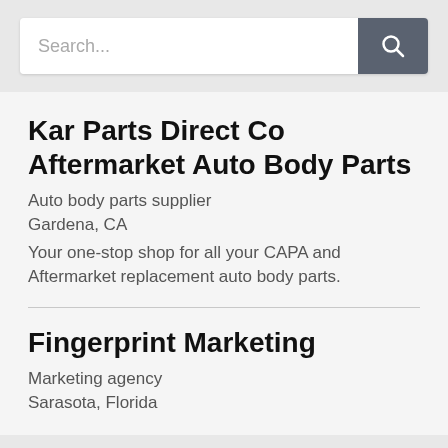[Figure (screenshot): Search bar with text input field showing placeholder 'Search...' and a dark grey search button with magnifying glass icon]
Kar Parts Direct Co Aftermarket Auto Body Parts
Auto body parts supplier
Gardena, CA
Your one-stop shop for all your CAPA and Aftermarket replacement auto body parts.
Fingerprint Marketing
Marketing agency
Sarasota, Florida